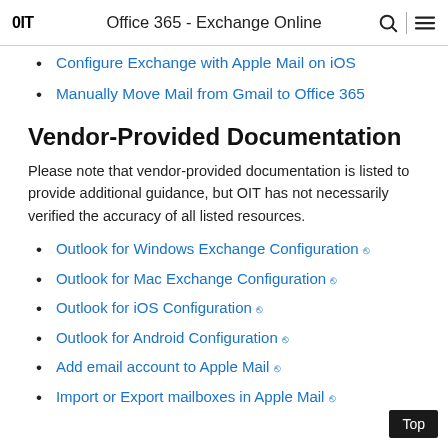OIT  Office 365 - Exchange Online
Configure Exchange with Apple Mail on iOS
Manually Move Mail from Gmail to Office 365
Vendor-Provided Documentation
Please note that vendor-provided documentation is listed to provide additional guidance, but OIT has not necessarily verified the accuracy of all listed resources.
Outlook for Windows Exchange Configuration (link)
Outlook for Mac Exchange Configuration (link)
Outlook for iOS Configuration (link)
Outlook for Android Configuration (link)
Add email account to Apple Mail (link)
Import or Export mailboxes in Apple Mail (link)